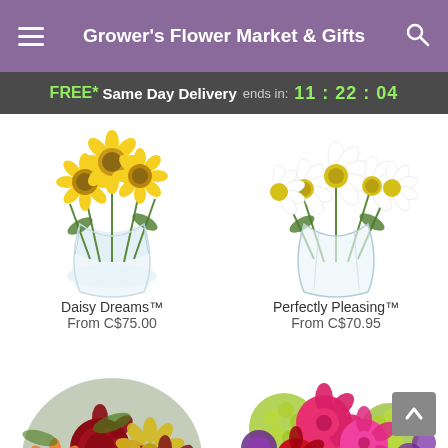Grower's Flower Market & Gifts
FREE* Same Day Delivery ends in: 11:22:04
[Figure (photo): Yellow sunflowers in a clear round glass vase — Daisy Dreams product photo]
Daisy Dreams™
From C$75.00
[Figure (photo): White daisies in a clear round glass vase — Perfectly Pleasing product photo]
Perfectly Pleasing™
From C$70.95
[Figure (photo): Autumn mixed bouquet with dark red dahlias, orange gerberas, yellow chrysanthemums and berries]
[Figure (photo): Vibrant pink and red roses with lime green hydrangeas and purple flowers bouquet]